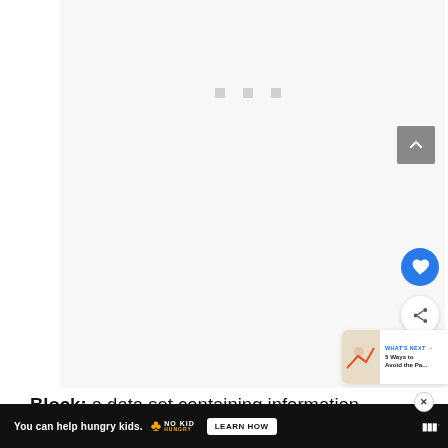[Figure (screenshot): A webpage screenshot showing a mostly blank/loading content area with three small gray squares near the top center, a dark gray scroll-to-top arrow button on the right, a blue circular heart/like button, a white circular share button, and a 'What's Next' recommendation card in the bottom-right corner. The content area background is light gray.]
Block: a data set containing information
[Figure (screenshot): Ad banner at the bottom: 'You can help hungry kids.' with No Kid Hungry logo and 'LEARN HOW' button, and a brand logo on the right with a close button.]